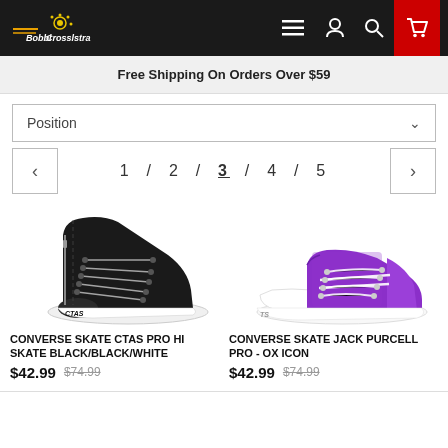Bobbi Crosslstra — Navigation header with menu, account, search, and cart icons
Free Shipping On Orders Over $59
Position (sort dropdown)
1 / 2 / 3 / 4 / 5
[Figure (photo): Black Converse Skate CTAS Pro Hi Skate sneaker, high-top, black with white sole]
CONVERSE SKATE CTAS PRO HI SKATE BLACK/BLACK/WHITE
$42.99  $74.99
[Figure (photo): Purple Converse Skate Jack Purcell Pro OX Icon low-top sneaker with white toe cap and sole]
CONVERSE SKATE JACK PURCELL PRO - OX ICON
$42.99  $74.99